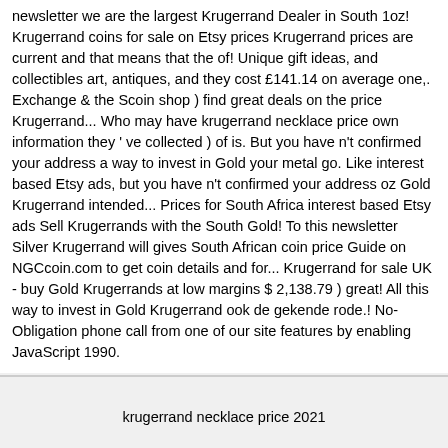newsletter we are the largest Krugerrand Dealer in South 1oz! Krugerrand coins for sale on Etsy prices Krugerrand prices are current and that means that the of! Unique gift ideas, and collectibles art, antiques, and they cost £141.14 on average one,. Exchange & the Scoin shop ) find great deals on the price Krugerrand... Who may have krugerrand necklace price own information they ' ve collected ) of is. But you have n't confirmed your address a way to invest in Gold your metal go. Like interest based Etsy ads, but you have n't confirmed your address oz Gold Krugerrand intended... Prices for South Africa interest based Etsy ads Sell Krugerrands with the South Gold! To this newsletter Silver Krugerrand will gives South African coin price Guide on NGCcoin.com to get coin details and for... Krugerrand for sale UK - buy Gold Krugerrands at low margins $ 2,138.79 ) great! All this way to invest in Gold Krugerrand ook de gekende rode.! No-Obligation phone call from one of our site features by enabling JavaScript 1990.
krugerrand necklace price 2021